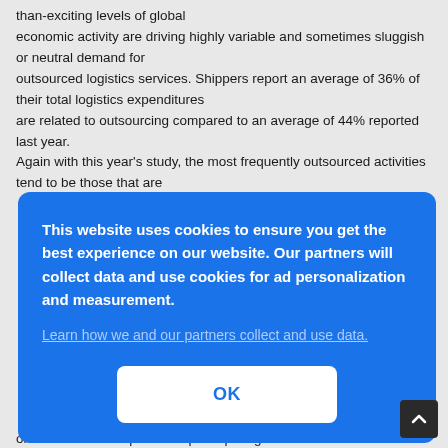than-exciting levels of global economic activity are driving highly variable and sometimes sluggish or neutral demand for outsourced logistics services. Shippers report an average of 36% of their total logistics expenditures are related to outsourcing compared to an average of 44% reported last year. Again with this year's study, the most frequently outsourced activities tend to be those that are
This website uses cookies to ensure you get the best experience on our website. Our partners will collect data and use cookies for ad personalization and measurement. Learn how we and our partners collect and use data. OK
one-third of the respondents participating